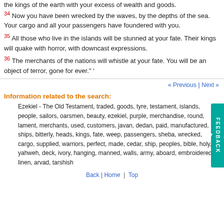the kings of the earth with your excess of wealth and goods.
34 Now you have been wrecked by the waves, by the depths of the sea. Your cargo and all your passengers have foundered with you.
35 All those who live in the islands will be stunned at your fate. Their kings will quake with horror, with downcast expressions.
36 The merchants of the nations will whistle at your fate. You will be an object of terror, gone for ever." '
«‹ Previous | Next ›»
Information related to the search:
Ezekiel - The Old Testament, traded, goods, tyre, testament, islands, people, sailors, oarsmen, beauty, ezekiel, purple, merchandise, round, lament, merchants, used, customers, javan, dedan, paid, manufactured, ships, bitterly, heads, kings, fate, weep, passengers, sheba, wrecked, cargo, supplied, warriors, perfect, made, cedar, ship, peoples, bible, holy, yahweh, deck, ivory, hanging, manned, walls, army, aboard, embroidered, linen, arvad, tarshish
Back | Home | Top